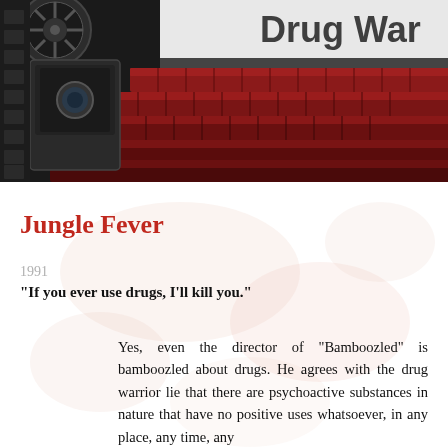[Figure (photo): A movie-themed photograph showing a film reel/projector on the left and rows of red theater seats in the background, with a bright white screen partially visible. Text 'Drug War' partially visible at top of screen.]
Jungle Fever
1991
"If you ever use drugs, I'll kill you."
Yes, even the director of "Bamboozled" is bamboozled about drugs. He agrees with the drug warrior lie that there are psychoactive substances in nature that have no positive uses whatsoever, in any place, any time, any